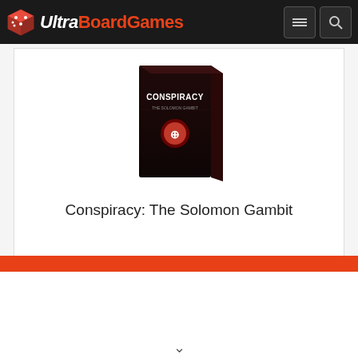UltraBoardGames
[Figure (photo): Conspiracy: The Solomon Gambit board game box — dark packaging with 'CONSPIRACY' text in white on the front]
Conspiracy: The Solomon Gambit
Price: $38.99